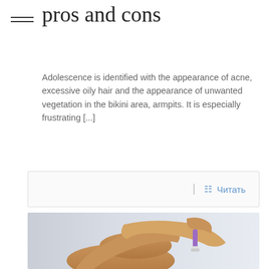pros and cons
Adolescence is identified with the appearance of acne, excessive oily hair and the appearance of unwanted vegetation in the bikini area, armpits. It is especially frustrating [...]
📄 Читать
[Figure (photo): A woman's tanned legs being shaved with a purple razor against a light grey background.]